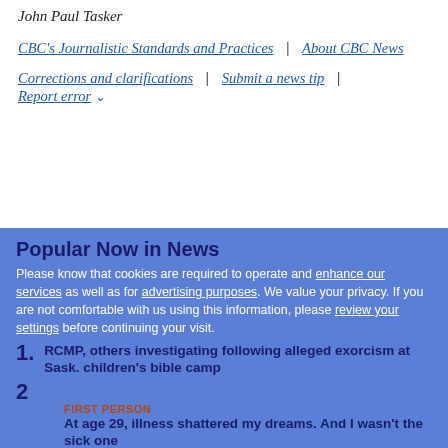John Paul Tasker
CBC's Journalistic Standards and Practices | About CBC News
Corrections and clarifications | Submit a news tip | Report error
Popular Now in News
Please know that cookies are required to operate and enhance our services as well as for advertising purposes. We value your privacy. If you are not comfortable with us using this information, please review your settings before continuing your visit.
1. RCMP, others investigating following alleged exorcism at Sask. children's bible camp
2. FIRST PERSON — At age 29, illness shattered my dreams. And I wasn't the sick one
Learn more   ✕ Close